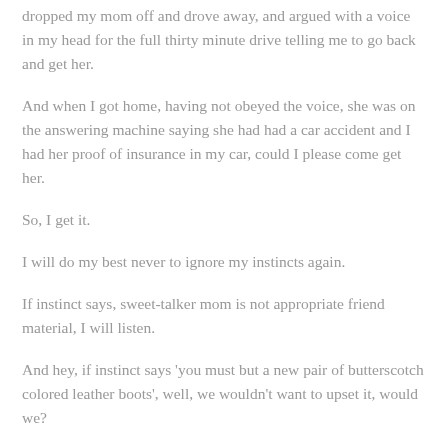dropped my mom off and drove away, and argued with a voice in my head for the full thirty minute drive telling me to go back and get her.
And when I got home, having not obeyed the voice, she was on the answering machine saying she had had a car accident and I had her proof of insurance in my car, could I please come get her.
So, I get it.
I will do my best never to ignore my instincts again.
If instinct says, sweet-talker mom is not appropriate friend material, I will listen.
And hey, if instinct says 'you must but a new pair of butterscotch colored leather boots', well, we wouldn't want to upset it, would we?
Right now instinct tells me to eat chocolate bunny. And so, I obey.